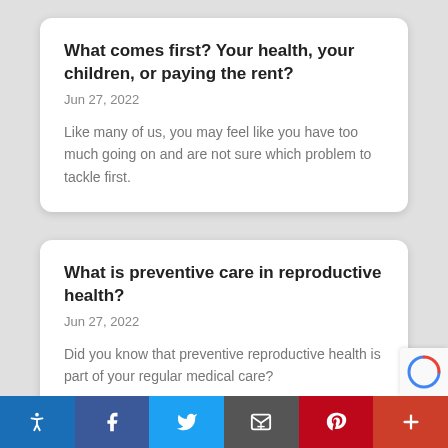What comes first? Your health, your children, or paying the rent?
Jun 27, 2022
Like many of us, you may feel like you have too much going on and are not sure which problem to tackle first.
What is preventive care in reproductive health?
Jun 27, 2022
Did you know that preventive reproductive health is part of your regular medical care?